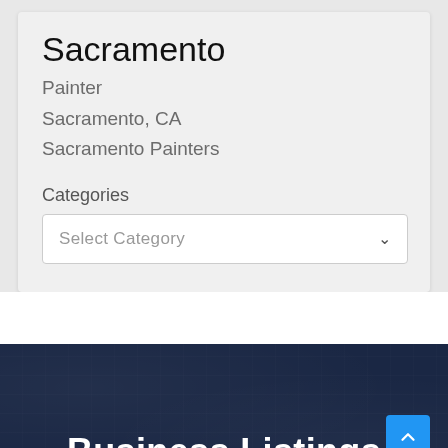Sacramento
Painter
Sacramento, CA
Sacramento Painters
Categories
Select Category
Business Listings